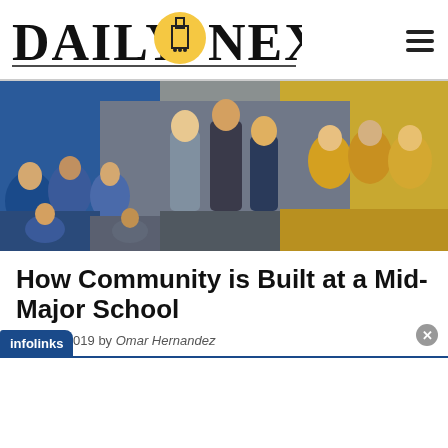DAILY NEXUS
[Figure (photo): Crowd of people at a sports event, some in blue and yellow UCSB colors, coaches and fans standing and reacting]
How Community is Built at a Mid-Major School
May 23, 2019 by Omar Hernandez